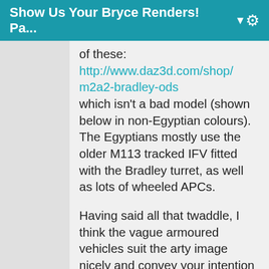Show Us Your Bryce Renders! Pa... ▼
of these: http://www.daz3d.com/shop/m2a2-bradley-ods which isn't a bad model (shown below in non-Egyptian colours). The Egyptians mostly use the older M113 tracked IFV fitted with the Bradley turret, as well as lots of wheeled APCs.
Having said all that twaddle, I think the vague armoured vehicles suit the arty image nicely and convey your intention well (which I got, btw